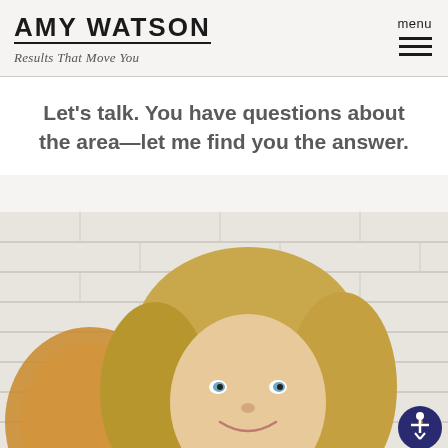AMY WATSON
Results That Move You
menu
Let’s talk. You have questions about the area—let me find you the answer.
[Figure (photo): Professional headshot of a smiling blonde woman in front of a white brick wall background, with a mustard/gold round chair visible to the left]